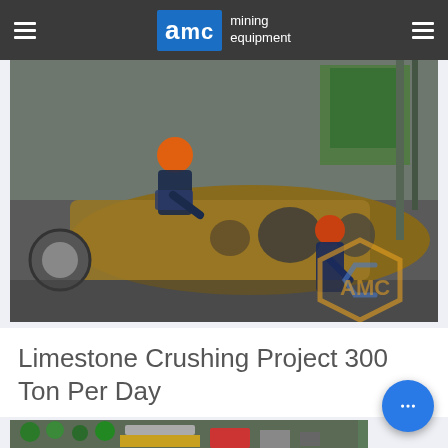AMC mining equipment
[Figure (photo): Workers in orange hard hats working on a large industrial mining equipment component (crusher frame) in a factory/workshop setting. An AMC logo watermark is visible in the bottom right corner of the image.]
Limestone Crushing Project 300 Ton Per Day
[Figure (photo): Aerial or elevated view of a limestone crushing plant facility with trucks, conveyor belts, and processing equipment visible, surrounded by trees and paved areas.]